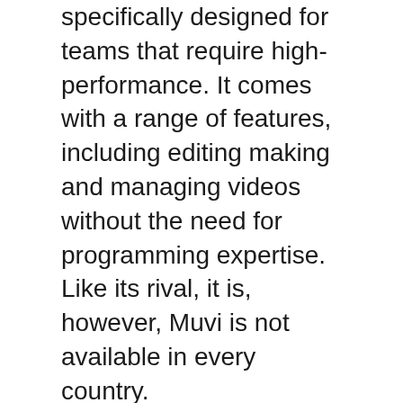specifically designed for teams that require high-performance. It comes with a range of features, including editing making and managing videos without the need for programming expertise. Like its rival, it is, however, Muvi is not available in every country.
Although Muvi has many benefits, it also has significant flaws that limit its use for small-sized businesses. It doesn't support every country and the comparative chart is often inaccurate. The limited variety of templates is another issue. A basic template starts at $1,999, and it requires further customizations. For those who want to use the service for personal, non-commercial purposes, Muvi is a great option.